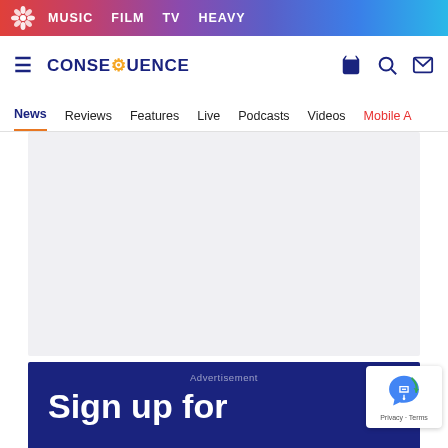MUSIC  FILM  TV  HEAVY
[Figure (logo): Consequence of Sound logo with flower icon and site name CONSEQUENCE in dark navy, with navigation icons]
News  Reviews  Features  Live  Podcasts  Videos  Mobile A
[Figure (other): Advertisement placeholder — light grey rectangle]
Advertisement
Sign up for